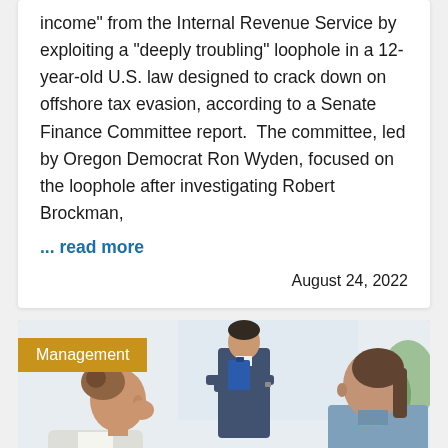income" from the Internal Revenue Service by exploiting a "deeply troubling" loophole in a 12-year-old U.S. law designed to crack down on offshore tax evasion, according to a Senate Finance Committee report.  The committee, led by Oregon Democrat Ron Wyden, focused on the loophole after investigating Robert Brockman,
... read more
August 24, 2022
[Figure (photo): Office scene with two women in a professional meeting, one in a white blazer facing left, another in a blue top facing right, a man in a suit with arms crossed standing in the background, office supplies and binders on a desk]
Management